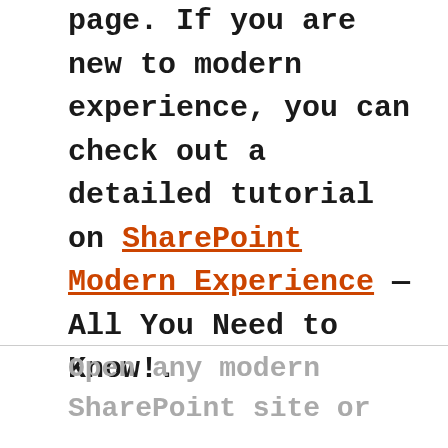page. If you are new to modern experience, you can check out a detailed tutorial on SharePoint Modern Experience — All You Need to Know!.
Open any modern SharePoint site or